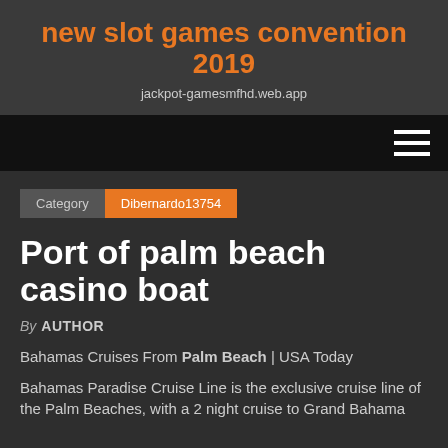new slot games convention 2019
jackpot-gamesmfhd.web.app
[Figure (other): Navigation bar with hamburger menu icon on dark black background]
Category   Dibernardo13754
Port of palm beach casino boat
By AUTHOR
Bahamas Cruises From Palm Beach | USA Today
Bahamas Paradise Cruise Line is the exclusive cruise line of the Palm Beaches, with a 2 night cruise to Grand Bahama